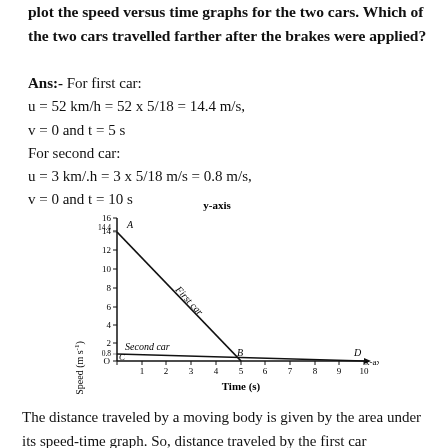plot the speed versus time graphs for the two cars. Which of the two cars travelled farther after the brakes were applied?
Ans:- For first car:
u = 52 km/h = 52 x 5/18 = 14.4 m/s,
v = 0 and t = 5 s
For second car:
u = 3 km/.h = 3 x 5/18 m/s = 0.8 m/s,
v = 0 and t = 10 s
[Figure (continuous-plot): Speed-time graph for two cars. First car: starts at 14.4 m/s (point A), decreases linearly to 0 at t=5s (point B). Second car: starts at 0.8 m/s (point C), decreases linearly to 0 at t=10s (point D). Y-axis labelled Speed (m s^-1) with ticks at 2,4,6,8,10,12,14,14.4,16. X-axis labelled Time (s) with ticks 0-10.]
The distance traveled by a moving body is given by the area under its speed-time graph. So, distance traveled by the first car